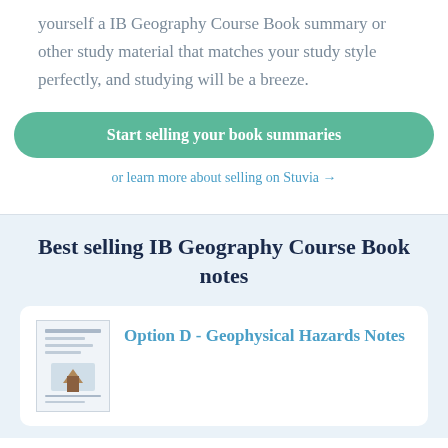yourself a IB Geography Course Book summary or other study material that matches your study style perfectly, and studying will be a breeze.
Start selling your book summaries
or learn more about selling on Stuvia →
Best selling IB Geography Course Book notes
Option D - Geophysical Hazards Notes